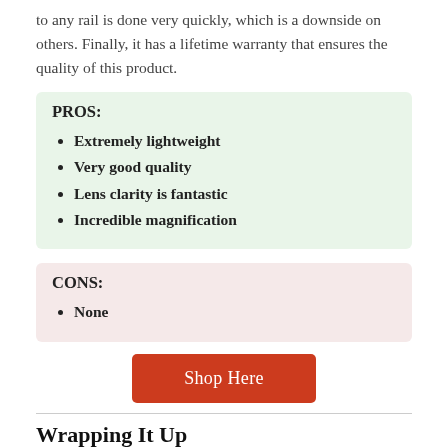to any rail is done very quickly, which is a downside on others. Finally, it has a lifetime warranty that ensures the quality of this product.
Extremely lightweight
Very good quality
Lens clarity is fantastic
Incredible magnification
None
[Figure (other): Shop Here button]
Wrapping It Up
You have reached the end of our article. Now, we gave you an an introduction to scopes that best fit 270 Winchesters, we helped you understand the key features to look for, and then we gave you a list